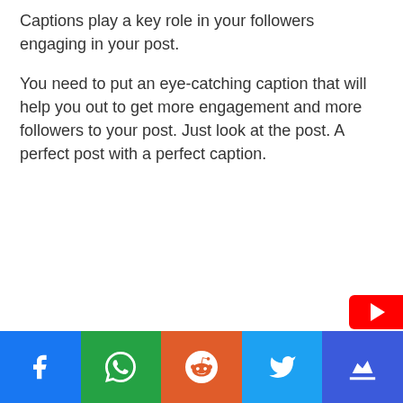Captions play a key role in your followers engaging in your post.
You need to put an eye-catching caption that will help you out to get more engagement and more followers to your post. Just look at the post. A perfect post with a perfect caption.
[Figure (infographic): Social media share bar at the bottom with Facebook (blue), WhatsApp (green), Reddit (orange), Twitter (light blue), and Crown/other (dark blue) buttons, plus a YouTube badge in the bottom right corner.]